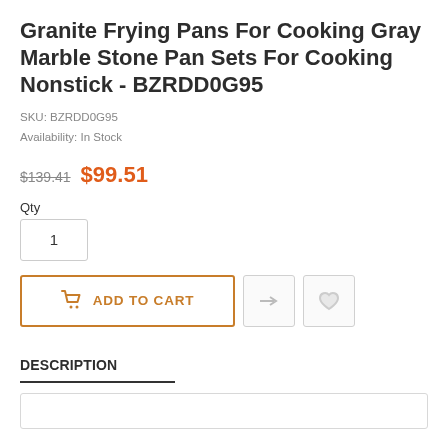Granite Frying Pans For Cooking Gray Marble Stone Pan Sets For Cooking Nonstick - BZRDD0G95
SKU: BZRDD0G95
Availability: In Stock
$139.41  $99.51
Qty
1
ADD TO CART
DESCRIPTION